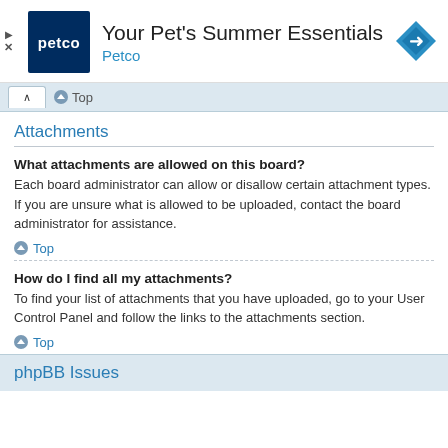[Figure (other): Petco advertisement banner with logo, title 'Your Pet's Summer Essentials', subtitle 'Petco', and navigation arrow icon]
Top
Attachments
What attachments are allowed on this board?
Each board administrator can allow or disallow certain attachment types. If you are unsure what is allowed to be uploaded, contact the board administrator for assistance.
Top
How do I find all my attachments?
To find your list of attachments that you have uploaded, go to your User Control Panel and follow the links to the attachments section.
Top
phpBB Issues